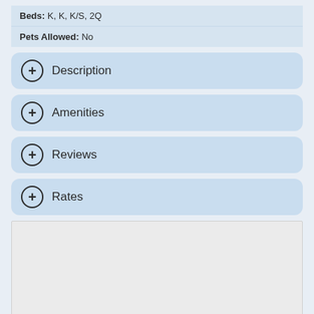Beds: K, K, K/S, 2Q
Pets Allowed: No
Description
Amenities
Reviews
Rates
[Figure (map): Map placeholder area, light gray background]